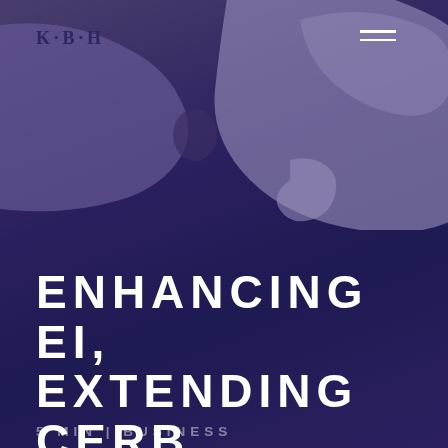[Figure (illustration): Abstract purple puzzle pieces graphic forming a background image in the upper portion of the page]
K·B·H
ENHANCING EI, EXTENDING CERB
5 MIN | BUSINESS